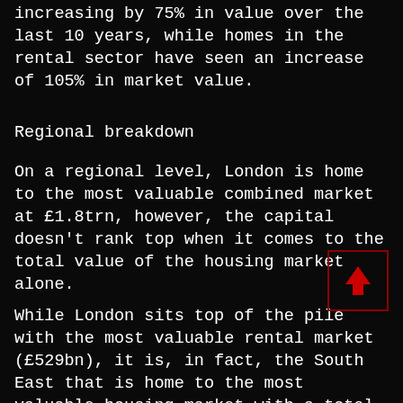increasing by 75% in value over the last 10 years, while homes in the rental sector have seen an increase of 105% in market value.
Regional breakdown
On a regional level, London is home to the most valuable combined market at £1.8trn, however, the capital doesn't rank top when it comes to the total value of the housing market alone.
[Figure (other): Red bordered box with a red upward arrow icon inside, serving as a navigation or highlight element.]
While London sits top of the pile with the most valuable rental market (£529bn), it is, in fact, the South East that is home to the most valuable housing market with a total value of just over £1trn.